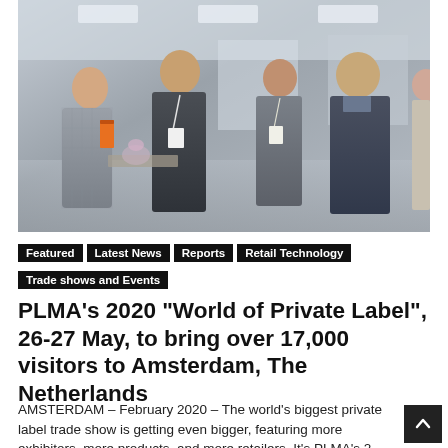[Figure (photo): Trade show floor photo showing four people in conversation at an exhibition booth — two men and two women, one man wearing a conference badge lanyard, bright trade fair hall in background.]
Featured
Latest News
Reports
Retail Technology
Trade shows and Events
PLMA’s 2020 “World of Private Label”, 26-27 May, to bring over 17,000 visitors to Amsterdam, The Netherlands
AMSTERDAM – February 2020 – The world’s biggest private label trade show is getting even bigger, featuring more exhibitors, more products, and more retailers. It’s PLMA’s 2…